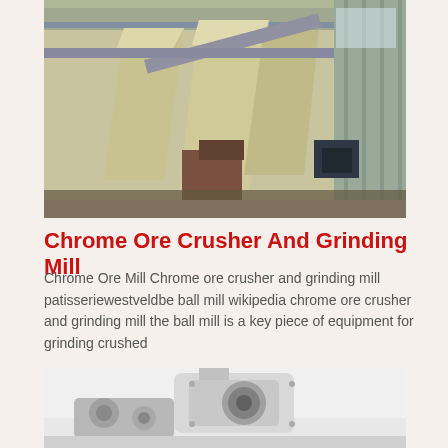[Figure (photo): Industrial grinding mill facility interior showing large yellow/cream colored conical hoppers and conveyor equipment inside a corrugated metal building]
Chrome Ore Crusher And Grinding Mill
Chrome Ore Mill Chrome ore crusher and grinding mill patisseriewestveldbe ball mill wikipedia chrome ore crusher and grinding mill the ball mill is a key piece of equipment for grinding crushed
[Figure (photo): Close-up of industrial crushing or grinding mill machinery, showing white/grey mechanical components including what appears to be a crusher unit]